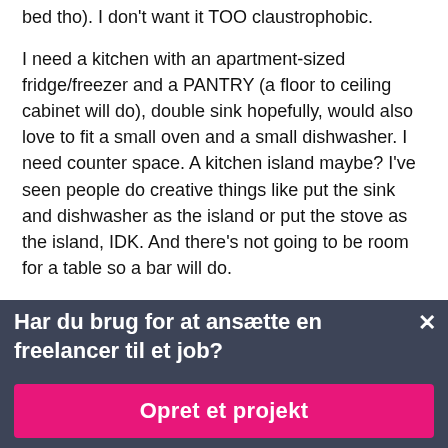bed tho). I don't want it TOO claustrophobic.
I need a kitchen with an apartment-sized fridge/freezer and a PANTRY (a floor to ceiling cabinet will do), double sink hopefully, would also love to fit a small oven and a small dishwasher. I need counter space. A kitchen island maybe? I've seen people do creative things like put the sink and dishwasher as the island or put the stove as the island, IDK. And there's not going to be room for a table so a bar will do.
I would like to have an open floor plan to the living
Har du brug for at ansætte en freelancer til et job?
Opret et projekt